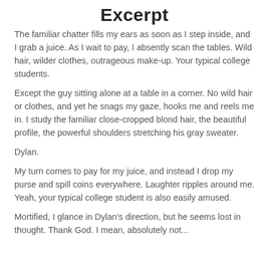Excerpt
The familiar chatter fills my ears as soon as I step inside, and I grab a juice. As I wait to pay, I absently scan the tables. Wild hair, wilder clothes, outrageous make-up. Your typical college students.
Except the guy sitting alone at a table in a corner. No wild hair or clothes, and yet he snags my gaze, hooks me and reels me in. I study the familiar close-cropped blond hair, the beautiful profile, the powerful shoulders stretching his gray sweater.
Dylan.
My turn comes to pay for my juice, and instead I drop my purse and spill coins everywhere. Laughter ripples around me. Yeah, your typical college student is also easily amused.
Mortified, I glance in Dylan's direction, but he seems lost in thought. Thank God. I mean, absolutely not...